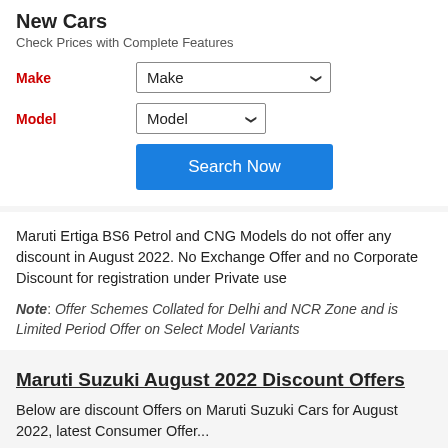New Cars
Check Prices with Complete Features
Make [dropdown] Model [dropdown] Search Now button
Maruti Ertiga BS6 Petrol and CNG Models do not offer any discount in August 2022. No Exchange Offer and no Corporate Discount for registration under Private use
Note: Offer Schemes Collated for Delhi and NCR Zone and is Limited Period Offer on Select Model Variants
Maruti Suzuki August 2022 Discount Offers
Below are discount Offers on Maruti Suzuki Cars for August 2022, latest Consumer Offer...